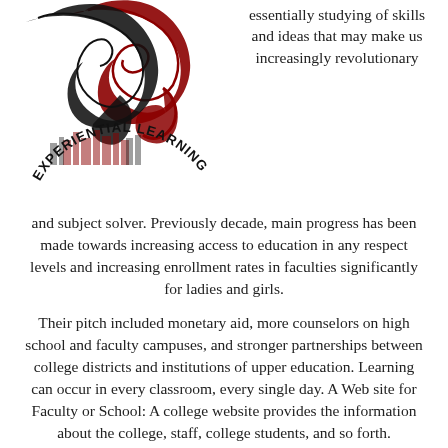[Figure (logo): Experiential Learning logo with stylized black and red bird/phoenix shapes and curved text reading EXPERIENTIAL LEARNING]
essentially studying of skills and ideas that may make us increasingly revolutionary and subject solver. Previously decade, main progress has been made towards increasing access to education in any respect levels and increasing enrollment rates in faculties significantly for ladies and girls.
Their pitch included monetary aid, more counselors on high school and faculty campuses, and stronger partnerships between college districts and institutions of upper education. Learning can occur in every classroom, every single day. A Web site for Faculty or School: A college website provides the information about the college, staff, college students, and so forth.
It also tends to distract their learning focus because